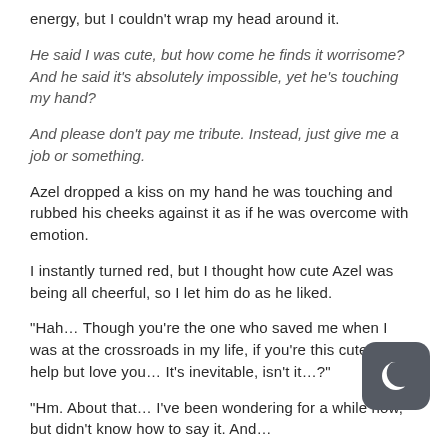energy, but I couldn't wrap my head around it.
He said I was cute, but how come he finds it worrisome? And he said it's absolutely impossible, yet he's touching my hand?
And please don't pay me tribute. Instead, just give me a job or something.
Azel dropped a kiss on my hand he was touching and rubbed his cheeks against it as if he was overcome with emotion.
I instantly turned red, but I thought how cute Azel was being all cheerful, so I let him do as he liked.
“Hah… Though you’re the one who saved me when I was at the crossroads in my life, if you’re this cute, I can’t help but love you… It’s inevitable, isn’t it…?”
“Hm. About that… I’ve been wondering for a while now, but didn’t know how to say it. And… Ha… Never done…